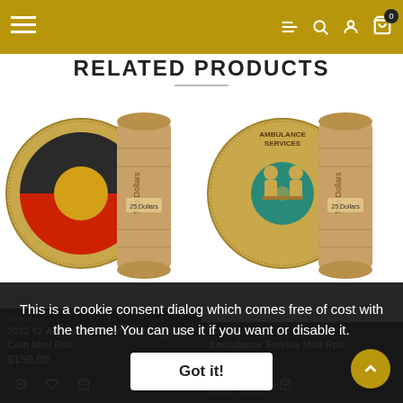Navigation bar with menu, search, account, and cart (0 items) icons
RELATED PRODUCTS
[Figure (photo): Left product: Australian Aboriginal Flag 2022 coin and coin roll. Coin shows Aboriginal flag design with black, red and yellow circles. Brown paper coin roll labeled 'Two Dollars'.]
$150.00
2022 $2 Australian Aboriginal Flag 50 Coin Mini Roll
[Figure (photo): Right product: Ambulance Service coin and coin roll. Gold coin with teal circle and ambulance workers. Brown paper coin roll labeled 'Two Dollars'.]
$110.00
Ambulance Service Mini Roll
This is a cookie consent dialog which comes free of cost with the theme! You can use it if you want or disable it.
Got it!